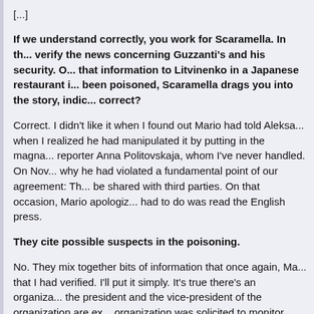[...]
If we understand correctly, you work for Scaramella. In th... verify the news concerning Guzzanti's and his security. O... that information to Litvinenko in a Japanese restaurant i... been poisoned, Scaramella drags you into the story, indic... correct?
Correct. I didn't like it when I found out Mario had told Aleksa... when I realized he had manipulated it by putting in the magna... reporter Anna Politovskaja, whom I've never handled. On Nov... why he had violated a fundamental point of our agreement: Th... be shared with third parties. On that occasion, Mario apologiz... had to do was read the English press.
They cite possible suspects in the poisoning.
No. They mix together bits of information that once again, Ma... that I had verified. I'll put it simply. It's true there's an organiza... the president and the vice-president of the organization are ex... organization was solicited to monitor Guzzanti and Scaramell...